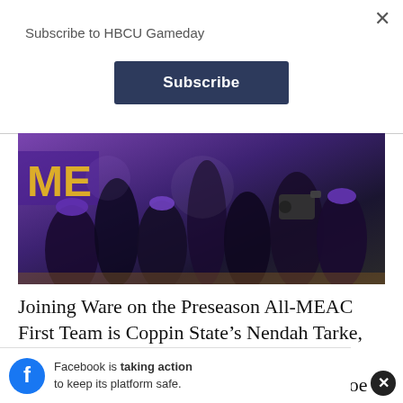Subscribe to HBCU Gameday
Subscribe
[Figure (photo): Crowd of basketball fans and players celebrating, wearing purple and black, with cameras and excitement, MEAC-related event]
Joining Ware on the Preseason All-MEAC First Team is Coppin State’s Nendah Tarke, Delaware State’s Myles Carter, Morgan State’s Malik Miller and Norfolk State’s Joe Bryant. The 2022 MEAC Basketball Tournament will be held March 9-12 at the Norfolk Scope Arena in Norfolk, Va.
Facebook is taking action to keep its platform safe.